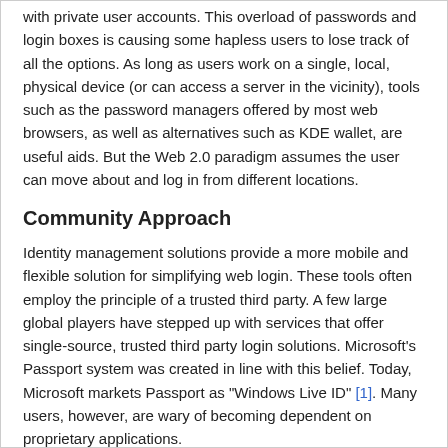with private user accounts. This overload of passwords and login boxes is causing some hapless users to lose track of all the options. As long as users work on a single, local, physical device (or can access a server in the vicinity), tools such as the password managers offered by most web browsers, as well as alternatives such as KDE wallet, are useful aids. But the Web 2.0 paradigm assumes the user can move about and log in from different locations.
Community Approach
Identity management solutions provide a more mobile and flexible solution for simplifying web login. These tools often employ the principle of a trusted third party. A few large global players have stepped up with services that offer single-source, trusted third party login solutions. Microsoft's Passport system was created in line with this belief. Today, Microsoft markets Passport as "Windows Live ID" [1]. Many users, however, are wary of becoming dependent on proprietary applications.
An early alternative known as the Liberty Alliance Project [2] offered a more open approach, but it was widely regarded as an overspecified dinosaur, and the Liberty Alliance still has not found widespread acceptance despite a seven-year effort. The